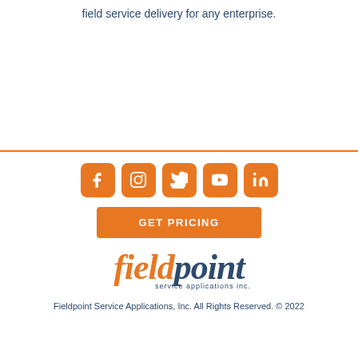field service delivery for any enterprise.
[Figure (logo): Social media icons: Facebook, Instagram, Twitter, YouTube, LinkedIn — orange rounded square buttons]
GET PRICING
[Figure (logo): Fieldpoint service applications inc. logo — 'field' in orange italic, 'point' in dark blue italic, 'service applications inc.' in small dark blue text below]
Fieldpoint Service Applications, Inc. All Rights Reserved. © 2022